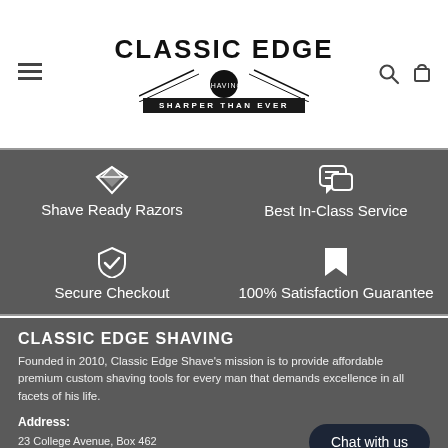[Figure (logo): Classic Edge Shaving logo with text 'CLASSIC EDGE SHAVING' and tagline 'SHARPER THAN EVER' with decorative lines]
Shave Ready Razors
Best In-Class Service
Secure Checkout
100% Satisfaction Guarantee
CLASSIC EDGE SHAVING
Founded in 2010, Classic Edge Shave's mission is to provide affordable premium custom shaving tools for every man that demands excellence in all facets of his life.
Address:
23 College Avenue, Box 462
Port Rowan, Ontario
Email:
theclassicedge@gmail.com